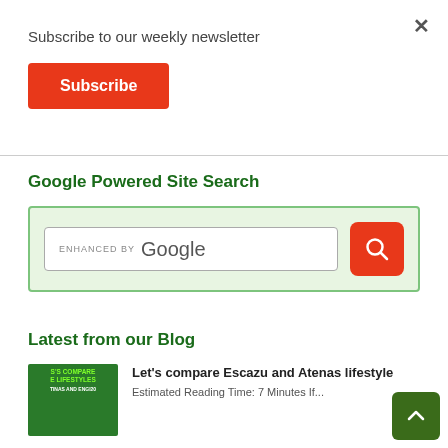Subscribe to our weekly newsletter
[Figure (other): Red Subscribe button]
[Figure (other): X close button]
Google Powered Site Search
[Figure (screenshot): Google-enhanced search box with orange search button inside green-bordered container]
Latest from our Blog
[Figure (photo): Blog thumbnail image with text overlay: S COMPARE E LIFESTYLES TINAS AND ENGI20]
Let's compare Escazu and Atenas lifestyle
Estimated Reading Time: 7 Minutes If...